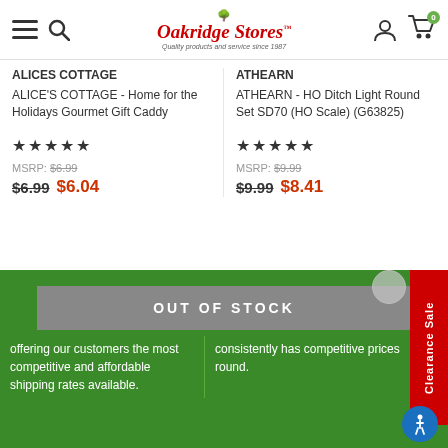Oakridge Stores — Quality products and service since 1987
ALICES COTTAGE
ALICE'S COTTAGE - Home for the Holidays Gourmet Gift Caddy
★★★★★
MSRP: $6.99   $6.99  $6.04
ATHEARN
ATHEARN - HO Ditch Light Round Set SD70 (HO Scale) (G63825)
★★★★★
MSRP: $9.99   $9.99  $8.41
OUT OF STOCK
offering our customers the most competitive and affordable shipping rates available.
consistently has competitive prices round.
Clearance Sale